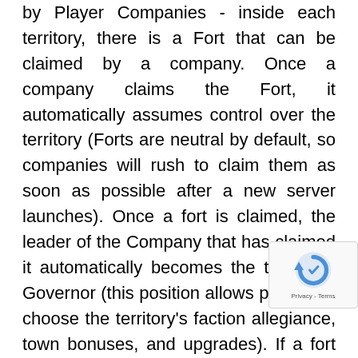by Player Companies - inside each territory, there is a Fort that can be claimed by a company. Once a company claims the Fort, it automatically assumes control over the territory (Forts are neutral by default, so companies will rush to claim them as soon as possible after a new server launches). Once a fort is claimed, the leader of the Company that has claimed it automatically becomes the territory's Governor (this position allows players to choose the territory's faction allegiance, town bonuses, and upgrades). If a fort is already occupied, it can only be claimed by defeating the current occupants in a siege battle (declaring war on territory has to be preceded by a lengthy economic and military campaign aimed at undermining the fort's current occupants' influence over the land). In each territory, there are also settlements which are player-driven community hubs that feature taverns, uninstanced player housing, various buildings (like forges, sawmills, and faction headquarters),
[Figure (other): reCAPTCHA badge/widget partially overlapping the text in the bottom-right corner, showing the reCAPTCHA circular arrow logo and 'Privacy - Terms' text]